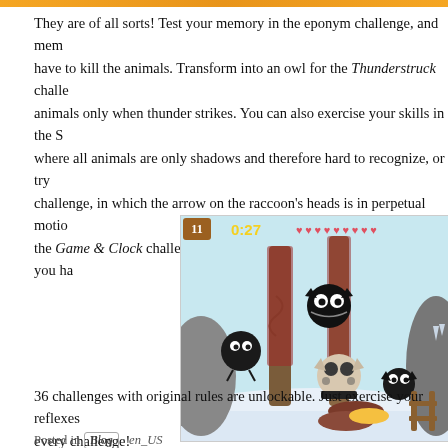They are of all sorts! Test your memory in the eponym challenge, and mem have to kill the animals. Transform into an owl for the Thunderstruck challe animals only when thunder strikes. You can also exercise your skills in the S where all animals are only shadows and therefore hard to recognize, or try challenge, in which the arrow on the raccoon's heads is in perpetual motio the Game & Clock challenge will remind you of the good old games you ha
[Figure (screenshot): Screenshot of a mobile game showing cartoon animals (raccoons/cats) in a snowy forest scene with a timer showing 0:27 and hearts in the top bar, score showing 11.]
36 challenges with original rules are unlockable. Just exercise your reflexes every challenge!
Posted in Blog · en_US